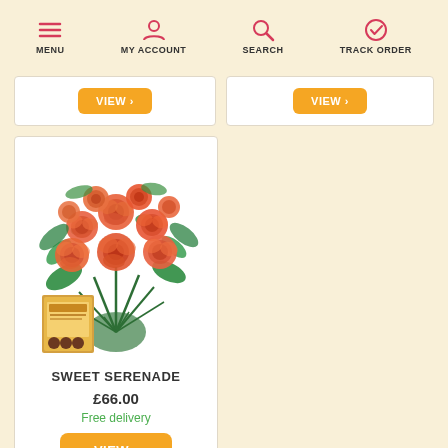MENU | MY ACCOUNT | SEARCH | TRACK ORDER
[Figure (screenshot): Partial product cards from previous scroll position showing two cards with orange VIEW buttons]
[Figure (photo): Bouquet of coral/orange roses with green foliage and a Thorntons Orange Chip chocolate box beside it - product photo for Sweet Serenade]
SWEET SERENADE
£66.00
Free delivery